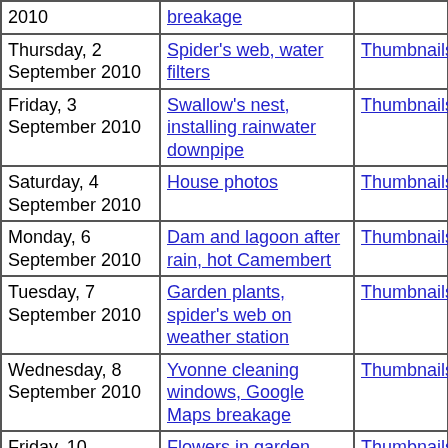| Date | Description | Col3 | Col4 | Col5 |
| --- | --- | --- | --- | --- |
| 2010 | breakage |  |  |  |
| Thursday, 2 September 2010 | Spider's web, water filters | Thumbnails | Small photos | diary |
| Friday, 3 September 2010 | Swallow's nest, installing rainwater downpipe | Thumbnails | Small photos | diary |
| Saturday, 4 September 2010 | House photos | Thumbnails | Small photos | diary |
| Monday, 6 September 2010 | Dam and lagoon after rain, hot Camembert | Thumbnails | Small photos | diary |
| Tuesday, 7 September 2010 | Garden plants, spider's web on weather station | Thumbnails | Small photos | diary |
| Wednesday, 8 September 2010 | Yvonne cleaning windows, Google Maps breakage | Thumbnails | Small photos | diary |
| Friday, 10 September 2010 | Flowers in garden, Google Maps help | Thumbnails | Small photos | diary |